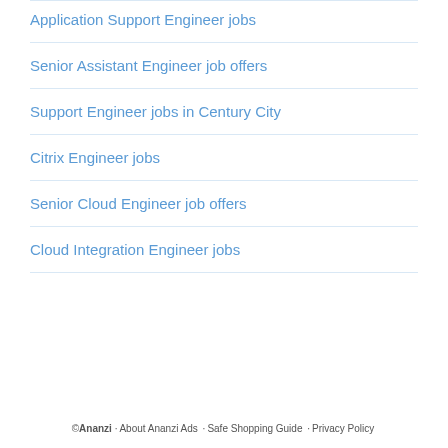Application Support Engineer jobs
Senior Assistant Engineer job offers
Support Engineer jobs in Century City
Citrix Engineer jobs
Senior Cloud Engineer job offers
Cloud Integration Engineer jobs
© Ananzi ·About Ananzi Ads ·Safe Shopping Guide ·Privacy Policy